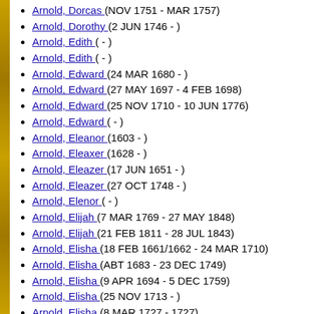Arnold, Dorcas (NOV 1751 - MAR 1757)
Arnold, Dorothy (2 JUN 1746 - )
Arnold, Edith ( - )
Arnold, Edith ( - )
Arnold, Edward (24 MAR 1680 - )
Arnold, Edward (27 MAY 1697 - 4 FEB 1698)
Arnold, Edward (25 NOV 1710 - 10 JUN 1776)
Arnold, Edward ( - )
Arnold, Eleanor (1603 - )
Arnold, Eleaxer (1628 - )
Arnold, Eleazer (17 JUN 1651 - )
Arnold, Eleazer (27 OCT 1748 - )
Arnold, Elenor ( - )
Arnold, Elijah (7 MAR 1769 - 27 MAY 1848)
Arnold, Elijah (21 FEB 1811 - 28 JUL 1843)
Arnold, Elisha (18 FEB 1661/1662 - 24 MAR 1710)
Arnold, Elisha (ABT 1683 - 23 DEC 1749)
Arnold, Elisha (9 APR 1694 - 5 DEC 1759)
Arnold, Elisha (25 NOV 1713 - )
Arnold, Elisha (8 MAR 1727 - 1727)
Arnold, Elisha (23 NOV 1731 - AFT 1758)
Arnold, Elisha ( - )
Arnold, Eliza A. Starr (19 JUN 1844 - 26 FEB 1921)
Arnold, Elizabeth (9 APR 1596 - )
Arnold, Elizabeth (9 APR 1596 - )